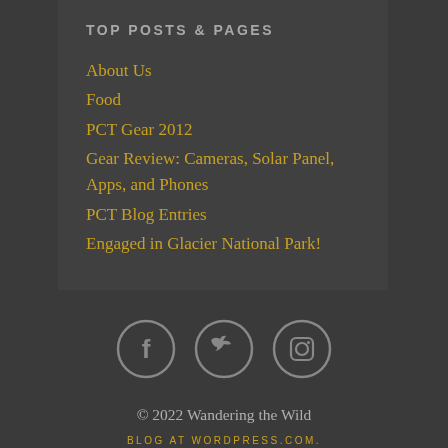TOP POSTS & PAGES
About Us
Food
PCT Gear 2012
Gear Review: Cameras, Solar Panel, Apps, and Phones
PCT Blog Entries
Engaged in Glacier National Park!
[Figure (infographic): Three social media icon circles: Facebook, Twitter, Instagram]
© 2022 Wandering the Wild
BLOG AT WORDPRESS.COM.